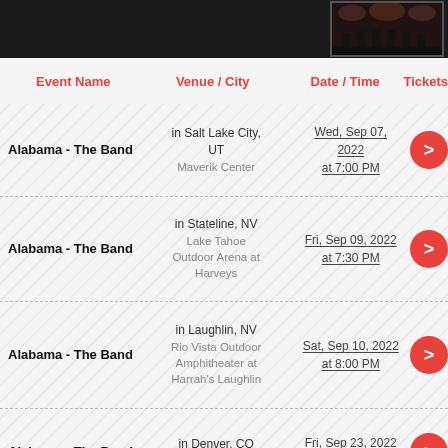[Figure (photo): Dark concert/performance image in top right corner]
| Event Name | Venue / City | Date / Time | Tickets |
| --- | --- | --- | --- |
| Alabama - The Band | in Salt Lake City, UT
Maverik Center | Wed, Sep 07, 2022
at 7:00 PM | > |
| Alabama - The Band | in Stateline, NV
Lake Tahoe Outdoor Arena at Harveys | Fri, Sep 09, 2022
at 7:30 PM | > |
| Alabama - The Band | in Laughlin, NV
Rio Vista Outdoor Amphitheater at Harrah's Laughlin | Sat, Sep 10, 2022
at 8:00 PM | > |
| Alabama - The Band | in Denver, CO
Ball Arena | Fri, Sep 23, 2022
at 7:00 PM | > |